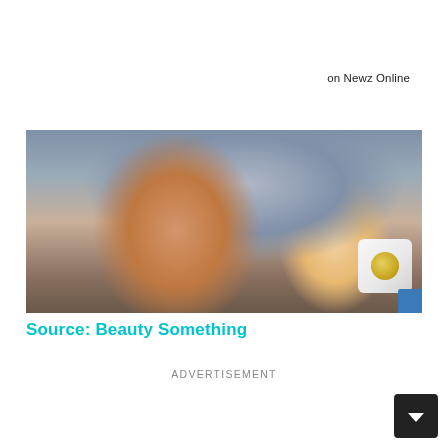on Newz Online
[Figure (photo): A young woman holding up a small product packet with a yellow circular capsule/product inside, looking at the camera.]
Source: Beauty Something
ADVERTISEMENT